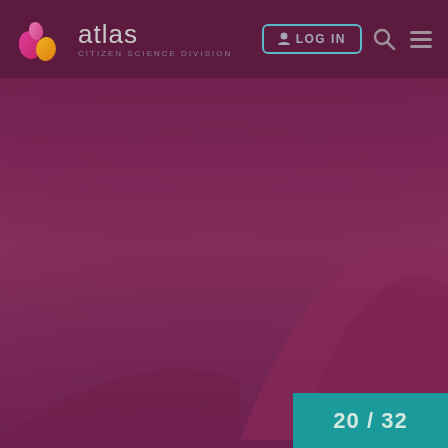[Figure (screenshot): Atlas Citizen Science Division website header with logo, LOG IN button, search icon, and hamburger menu on dark purple background]
20 / 32